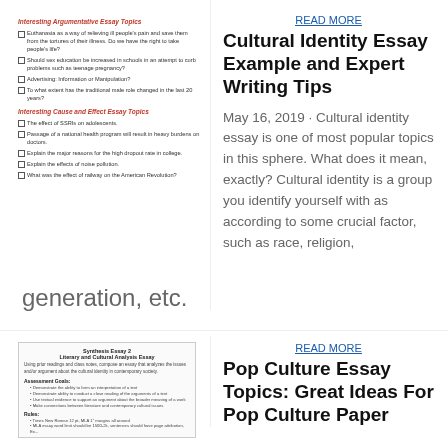Interesting Argumentative Essay Topics
Euthanasia as a way of relieving ill people's pain and save them from the tortures of their illness. Do we have the right to take people's life?
Should sex education be increased in schools in an attempt to curb problems such as teenage pregnancy?
Advertising: Information or Manipulation?
To what extent has the traditional male role changed in the last 20 years?
Interesting Cause and Effect Essay Topics
The effect of SSRIs on adolescents.
Passage of a national health program will result in heavy burdens on doctors.
Explain the major reasons for the high dropout rate in college.
Explain the effects of noise pollution.
What was the effect of railway on the American Revolution?
READ MORE
Cultural Identity Essay Example and Expert Writing Tips
May 16, 2019 · Cultural identity essay is one of most popular topics in this sphere. What does it mean, exactly? Cultural identity is a group you identify yourself with as according to some crucial factor, such as race, religion,
generation, etc.
[Figure (screenshot): Thumbnail image of a Synthesis Essay / Literary and Cultural Analysis Essay document page]
READ MORE
Pop Culture Essay Topics: Great Ideas For Pop Culture Paper